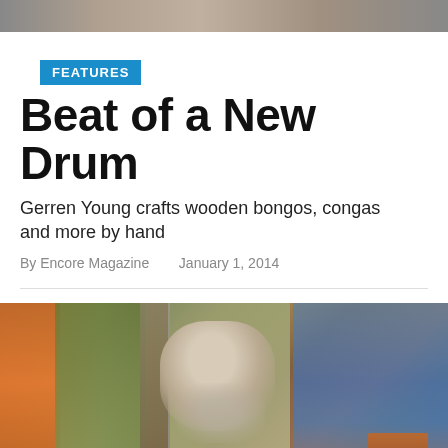[Figure (photo): Partial top photo strip showing people, cropped at top of page]
FEATURES
Beat of a New Drum
Gerren Young crafts wooden bongos, congas and more by hand
By Encore Magazine   January 1, 2014
[Figure (photo): Man with white beard and glasses working on a detailed model train layout, surrounded by miniature buildings, bridges, trains, and landscapes]
FEATURES